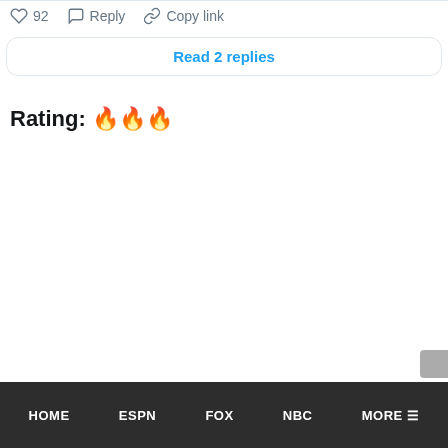♡ 92   Reply   Copy link
Read 2 replies
Rating: 🔥🔥🔥
HOME   ESPN   FOX   NBC   MORE ☰